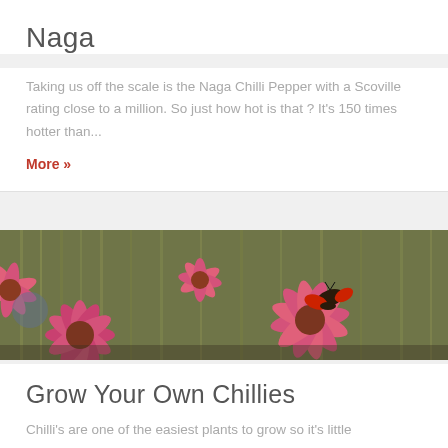Naga
Taking us off the scale is the Naga Chilli Pepper with a Scoville rating close to a million. So just how hot is that ? It's 150 times hotter than...
More »
[Figure (photo): A field of bright pink cone flowers (echinacea) with a butterfly visible on one of the blooms, surrounded by tall grass in the background]
Grow Your Own Chillies
Chilli's are one of the easiest plants to grow so it's little